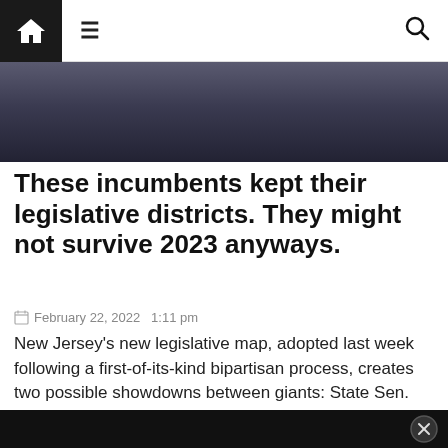Navigation bar with home, menu, and search icons
[Figure (photo): Top portion of a photo showing a person in a dark suit with a patterned tie, cropped to show only the neck/chest area]
These incumbents kept their legislative districts. They might not survive 2023 anyways.
February 22, 2022  1:11 pm
New Jersey's new legislative map, adopted last week following a first-of-its-kind bipartisan process, creates two possible showdowns between giants: State Sen. Nia Gill (D-Montclair) versus former Gov. Richard Codey (D-Roseland) in the 27th district, and State Sens. Nicholas Sacco (D-North...
[Figure (photo): Bottom photo showing two people, partially visible, cropped at the top of the frame]